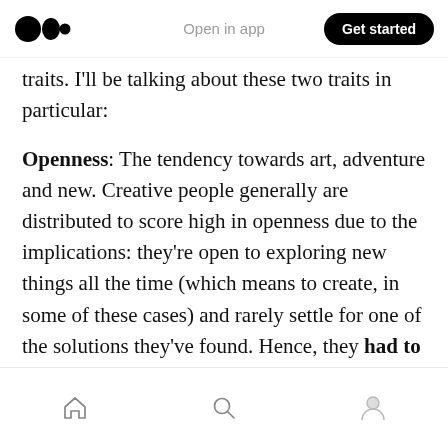Open in app | Get started
traits. I'll be talking about these two traits in particular:
Openness: The tendency towards art, adventure and new. Creative people generally are distributed to score high in openness due to the implications: they're open to exploring new things all the time (which means to create, in some of these cases) and rarely settle for one of the solutions they've found. Hence, they had to pursue something that's endlessly permutable in order to fulfil this need.
Home | Search | Profile